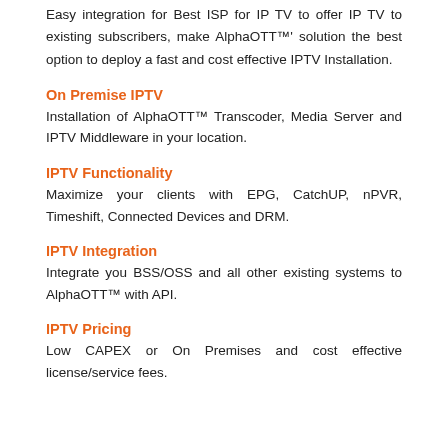Easy integration for Best ISP for IP TV to offer IP TV to existing subscribers, make AlphaOTT™' solution the best option to deploy a fast and cost effective IPTV Installation.
On Premise IPTV
Installation of AlphaOTT™ Transcoder, Media Server and IPTV Middleware in your location.
IPTV Functionality
Maximize your clients with EPG, CatchUP, nPVR, Timeshift, Connected Devices and DRM.
IPTV Integration
Integrate you BSS/OSS and all other existing systems to AlphaOTT™ with API.
IPTV Pricing
Low CAPEX or On Premises and cost effective license/service fees.